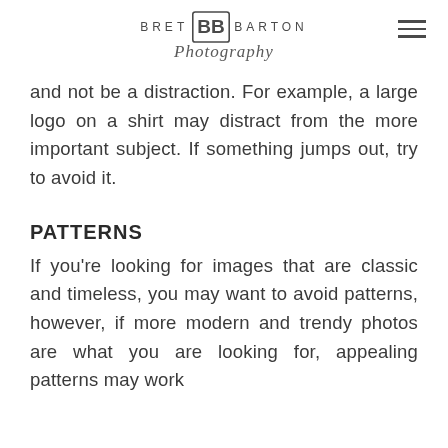BRET BB BARTON Photography
and not be a distraction. For example, a large logo on a shirt may distract from the more important subject. If something jumps out, try to avoid it.
PATTERNS
If you're looking for images that are classic and timeless, you may want to avoid patterns, however, if more modern and trendy photos are what you are looking for, appealing patterns may work